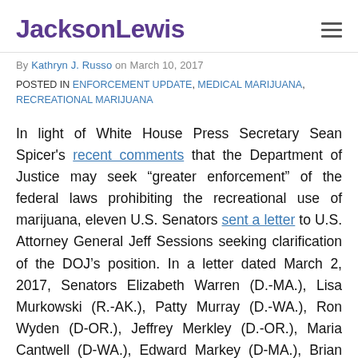JacksonLewis
By Kathryn J. Russo on March 10, 2017
POSTED IN ENFORCEMENT UPDATE, MEDICAL MARIJUANA, RECREATIONAL MARIJUANA
In light of White House Press Secretary Sean Spicer's recent comments that the Department of Justice may seek “greater enforcement” of the federal laws prohibiting the recreational use of marijuana, eleven U.S. Senators sent a letter to U.S. Attorney General Jeff Sessions seeking clarification of the DOJ’s position. In a letter dated March 2, 2017, Senators Elizabeth Warren (D.-MA.), Lisa Murkowski (R.-AK.), Patty Murray (D.-WA.), Ron Wyden (D-OR.), Jeffrey Merkley (D.-OR.), Maria Cantwell (D-WA.), Edward Markey (D-MA.), Brian Schatz (D.-HI.), Catherine